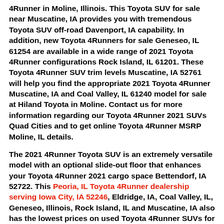4Runner in Moline, Illinois. This Toyota SUV for sale near Muscatine, IA provides you with tremendous Toyota SUV off-road Davenport, IA capability. In addition, new Toyota 4Runners for sale Geneseo, IL 61254 are available in a wide range of 2021 Toyota 4Runner configurations Rock Island, IL 61201. These Toyota 4Runner SUV trim levels Muscatine, IA 52761 will help you find the appropriate 2021 Toyota 4Runner Muscatine, IA and Coal Valley, IL 61240 model for sale at Hiland Toyota in Moline. Contact us for more information regarding our Toyota 4Runner 2021 SUVs Quad Cities and to get online Toyota 4Runner MSRP Moline, IL details.
The 2021 4Runner Toyota SUV is an extremely versatile model with an optional slide-out floor that enhances your Toyota 4Runner 2021 cargo space Bettendorf, IA 52722. This Peoria, IL Toyota 4Runner dealership serving Iowa City, IA 52246, Eldridge, IA, Coal Valley, IL, Geneseo, Illinois, Rock Island, IL and Muscatine, IA also has the lowest prices on used Toyota 4Runner SUVs for sale Quad